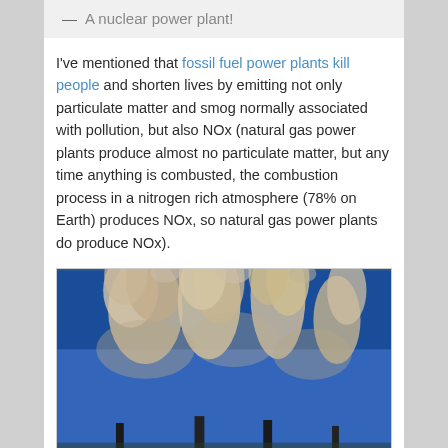— A nuclear power plant!
I've mentioned that fossil fuel power plants kill people and shorten lives by emitting not only particulate matter and smog normally associated with pollution, but also NOx (natural gas power plants produce almost no particulate matter, but any time anything is combusted, the combustion process in a nitrogen rich atmosphere (78% on Earth) produces NOx, so natural gas power plants do produce NOx).
[Figure (photo): Photo of industrial smokestacks emitting large plumes of white and tan smoke against a bright blue sky]